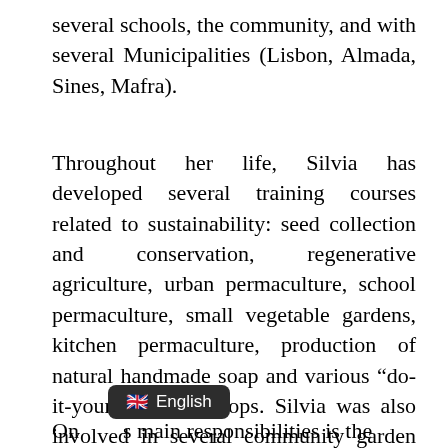several schools, the community, and with several Municipalities (Lisbon, Almada, Sines, Mafra).
Throughout her life, Silvia has developed several training courses related to sustainability: seed collection and conservation, regenerative agriculture, urban permaculture, school permaculture, small vegetable gardens, kitchen permaculture, production of natural handmade soap and various “do-it-yourself” workshops. Silvia was also involved in several community garden projects.
[Figure (other): Language selector badge showing UK flag emoji and 'English' text on dark rounded rectangle background]
On…s main responsibilities is the